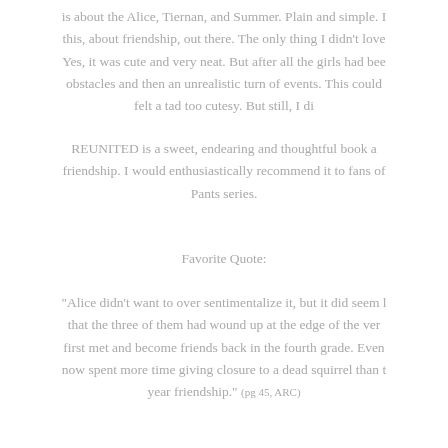is about the Alice, Tiernan, and Summer. Plain and simple. I this, about friendship, out there. The only thing I didn't love Yes, it was cute and very neat. But after all the girls had bee obstacles and then an unrealistic turn of events. This could felt a tad too cutesy. But still, I di
REUNITED is a sweet, endearing and thoughtful book a friendship. I would enthusiastically recommend it to fans of Pants series.
Favorite Quote:
"Alice didn't want to over sentimentalize it, but it did seem l that the three of them had wound up at the edge of the ver first met and become friends back in the fourth grade. Even now spent more time giving closure to a dead squirrel than t year friendship." (pg 45, ARC)